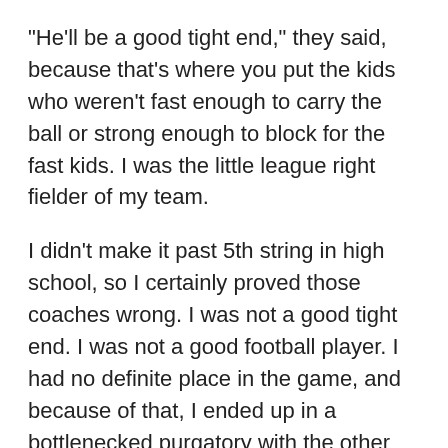"He'll be a good tight end," they said, because that's where you put the kids who weren't fast enough to carry the ball or strong enough to block for the fast kids. I was the little league right fielder of my team.
I didn't make it past 5th string in high school, so I certainly proved those coaches wrong. I was not a good tight end. I was not a good football player. I had no definite place in the game, and because of that, I ended up in a bottlenecked purgatory with the other kids who would end up on the golf team.
It used to be that a TE was asked to block, and, if possible, try to stay out of the way of the WRs zipping around the field. Just stand in a gap and don't fall over when/if the ball came his way. Even now, with the